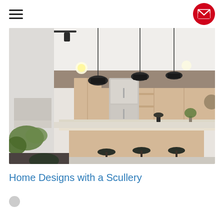Navigation menu and mail button
[Figure (photo): Modern kitchen interior with light wood cabinetry, large island bench with three dark bar stools, pendant lights, stainless steel refrigerator, and plants in foreground]
Home Designs with a Scullery